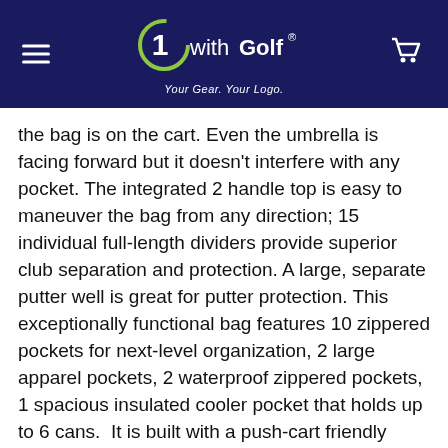[Figure (logo): 1withGolf logo with tagline 'Your Gear. Your Logo.' on dark navy header with hamburger menu and cart icon]
the bag is on the cart. Even the umbrella is facing forward but it doesn't interfere with any pocket. The integrated 2 handle top is easy to maneuver the bag from any direction; 15 individual full-length dividers provide superior club separation and protection. A large, separate putter well is great for putter protection. This exceptionally functional bag features 10 zippered pockets for next-level organization, 2 large apparel pockets, 2 waterproof zippered pockets, 1 spacious insulated cooler pocket that holds up to 6 cans.  It is built with a push-cart friendly base. It is everything you need for a cart bag on the course. A single strap and rain hood are included.
1 Review